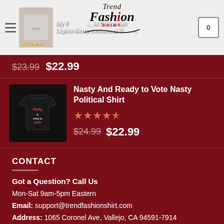My F... (title partially visible) | Trend Fashion Shirt logo | Cart: 0
$23.99  $22.99
Nasty And Ready to Vote Nasty Political Shirt
Rating: 4.5 stars
$24.99  $22.99
CONTACT
Got a Question? Call Us
Mon-Sat 9am-5pm Eastern
Email: support@trendfashionshirt.com
Address: 1065 Coronel Ave, Vallejo, CA 94591-7914